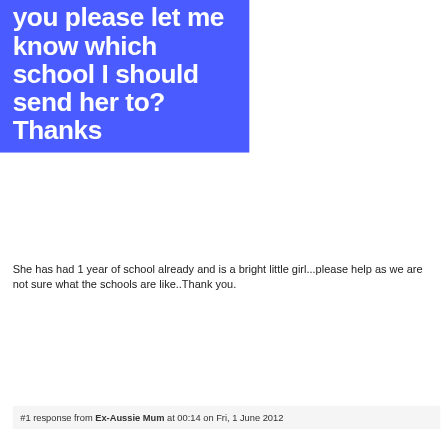you please let me know which school I should send her to? Thanks
She has had 1 year of school already and is a bright little girl...please help as we are not sure what the schools are like..Thank you.
#1 response from Ex-Aussie Mum at 00:14 on Fri, 1 June 2012